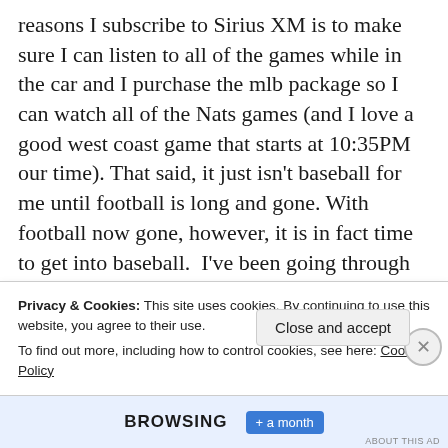reasons I subscribe to Sirius XM is to make sure I can listen to all of the games while in the car and I purchase the mlb package so I can watch all of the Nats games (and I love a good west coast game that starts at 10:35PM our time). That said, it just isn't baseball for me until football is long and gone. With football now gone, however, it is in fact time to get into baseball.  I've been going through all of the different rosters and have to be honest, it could be a very tough year coming up for my Nats.
Privacy & Cookies: This site uses cookies. By continuing to use this website, you agree to their use.
To find out more, including how to control cookies, see here: Cookie Policy
Close and accept
BROWSING